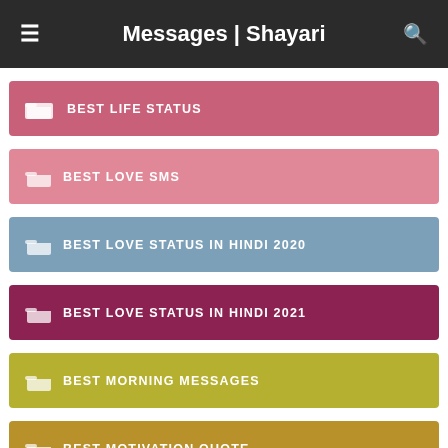Messages | Shayari
BEST LIFE STATUS
BEST LOVE SMS
BEST LOVE STATUS IN HINDI 2020
BEST LOVE STATUS IN HINDI 2021
BEST MORNING MESSAGES
BEST MOTIVATION QUOTE
BEST MOTIVATIONAL MESSAGES AND QUOTES
BEST MOTIVATIONAL QUOTES